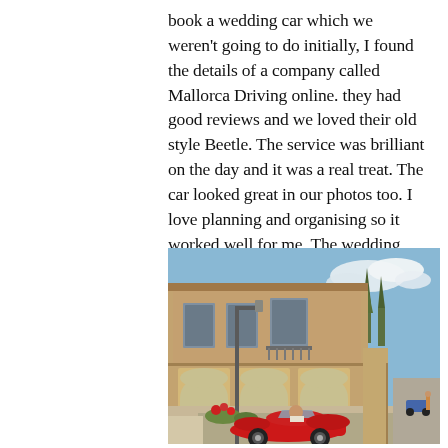book a wedding car which we weren't going to do initially, I found the details of a company called Mallorca Driving online. they had good reviews and we loved their old style Beetle. The service was brilliant on the day and it was a real treat. The car looked great in our photos too. I love planning and organising so it worked well for me. The wedding planner actually asked me which florist I had used on the day as my flowers were so beautiful.
[Figure (photo): A red Volkswagen Beetle convertible driving past a rustic stone building in Mallorca, Spain. The street scene shows a two-storey sandstone building with arched windows on the ground floor and a balcony. There are green pine trees and a clear blue sky with some clouds in the background.]